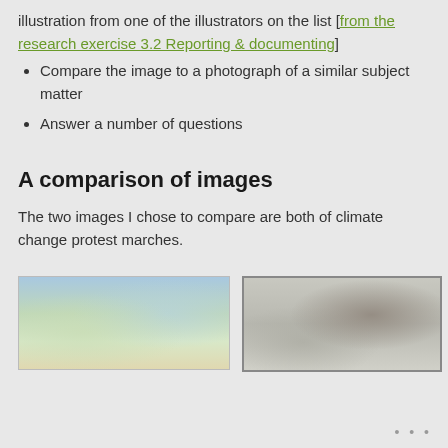illustration from one of the illustrators on the list [from the research exercise 3.2 Reporting & documenting]
Compare the image to a photograph of a similar subject matter
Answer a number of questions
A comparison of images
The two images I chose to compare are both of climate change protest marches.
[Figure (photo): Photograph of a climate change protest march with crowds, colorful banners, and buildings in the background]
[Figure (illustration): Black and white illustration of a climate change protest march showing buildings and a figure]
•••